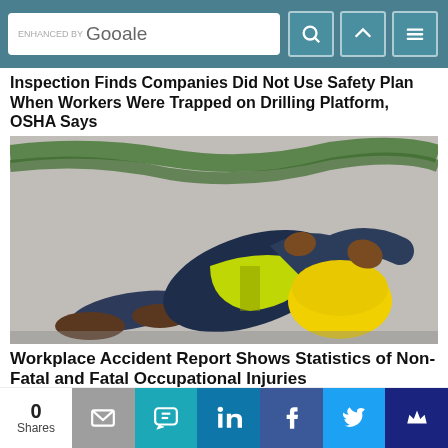ENHANCED BY Google [search bar with icons]
Inspection Finds Companies Did Not Use Safety Plan When Workers Were Trapped on Drilling Platform, OSHA Says
[Figure (photo): Construction worker in yellow hi-vis vest and yellow hard hat sitting on ground holding knee in pain, workplace injury scene]
Workplace Accident Report Shows Statistics of Non-Fatal and Fatal Occupational Injuries
0 Shares [social share bar with email, SMS, LinkedIn, Facebook, Twitter, and other icons]